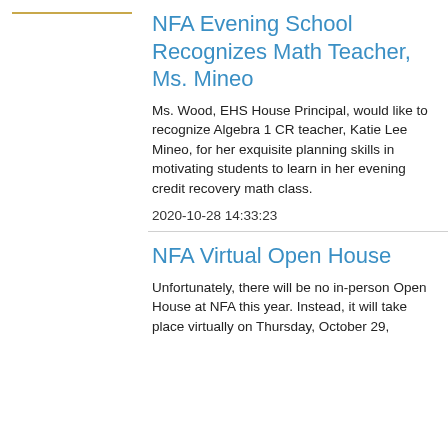NFA Evening School Recognizes Math Teacher, Ms. Mineo
Ms. Wood, EHS House Principal, would like to recognize Algebra 1 CR teacher, Katie Lee Mineo, for her exquisite planning skills in motivating students to learn in her evening credit recovery math class.
2020-10-28 14:33:23
NFA Virtual Open House
Unfortunately, there will be no in-person Open House at NFA this year. Instead, it will take place virtually on Thursday, October 29,